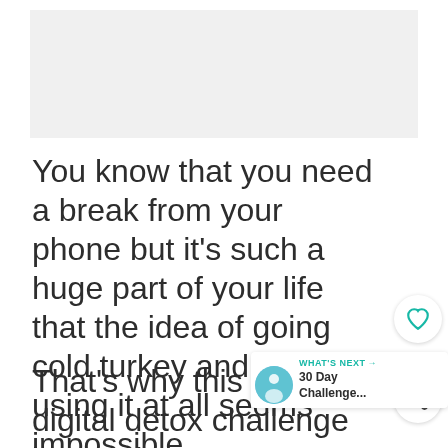[Figure (photo): Light gray placeholder image area at the top of the page]
You know that you need a break from your phone but it's such a huge part of your life that the idea of going cold turkey and not using it at all seems impossible.
That's why this 30 day digital detox challenge is not about